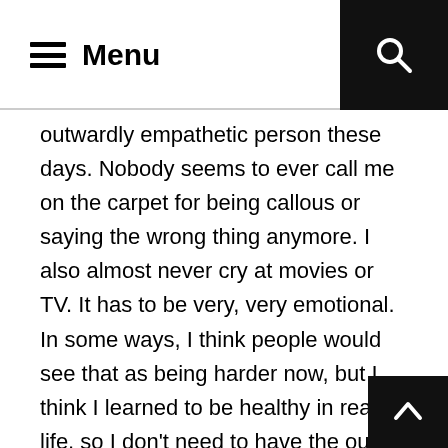≡ Menu
outwardly empathetic person these days. Nobody seems to ever call me on the carpet for being callous or saying the wrong thing anymore. I also almost never cry at movies or TV. It has to be very, very emotional. In some ways, I think people would see that as being harder now, but I think I learned to be healthy in real life, so I don't need to have the outlet of fantasy to be emotional.
In the last year or two though, I find one other thing happening... I seem to be developing a more liberal, human-friendly attitude toward the world. This has been underscored this last two weeks watching the social unrest happening coast to coast and being absolute disgusted by the ways so many people are reacting. Whether they are government officials, run-of-the-mill racists, or looters, the trend I'm noticing is that